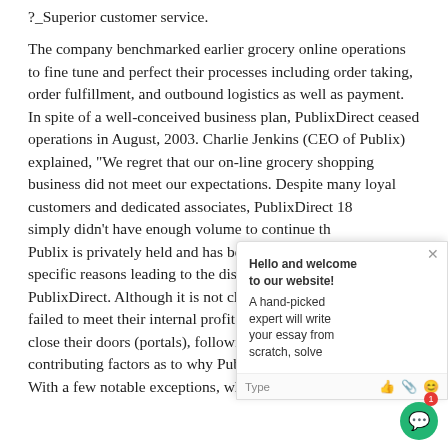?_Superior customer service.
The company benchmarked earlier grocery online operations to fine tune and perfect their processes including order taking, order fulfillment, and outbound logistics as well as payment. In spite of a well-conceived business plan, PublixDirect ceased operations in August, 2003. Charlie Jenkins (CEO of Publix) explained, "We regret that our on-line grocery shopping business did not meet our expectations. Despite many loyal customers and dedicated associates, PublixDirect 18 simply didn't have enough volume to continue th... Publix is privately held and has been tight-lipped... specific reasons leading to the discontinuation o... PublixDirect. Although it is not clear as to why P... failed to meet their internal profit and revenue t... close their doors (portals), following are some possible contributing factors as to why PublixDirect failed to succ... With a few notable exceptions, what most failed Internet